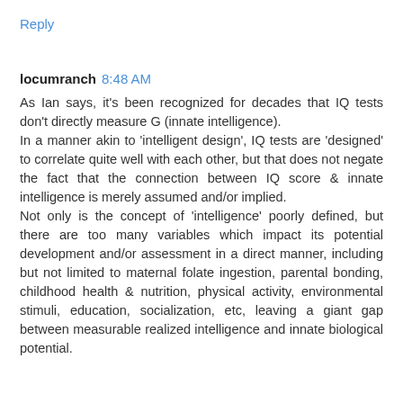Reply
locumranch 8:48 AM
As Ian says, it's been recognized for decades that IQ tests don't directly measure G (innate intelligence).
In a manner akin to 'intelligent design', IQ tests are 'designed' to correlate quite well with each other, but that does not negate the fact that the connection between IQ score & innate intelligence is merely assumed and/or implied.
Not only is the concept of 'intelligence' poorly defined, but there are too many variables which impact its potential development and/or assessment in a direct manner, including but not limited to maternal folate ingestion, parental bonding, childhood health & nutrition, physical activity, environmental stimuli, education, socialization, etc, leaving a giant gap between measurable realized intelligence and innate biological potential.